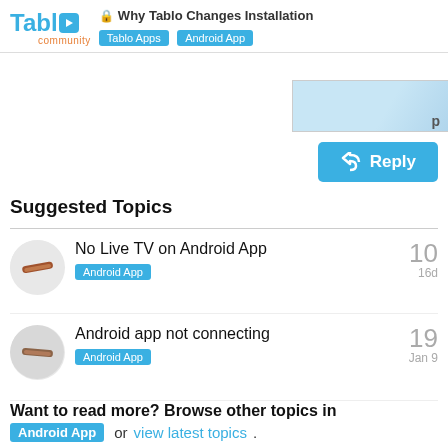Tablo community — Why Tablo Changes Installation — Tablo Apps | Android App
[Figure (screenshot): Partial cropped image at top right corner, light blue background]
[Figure (other): Blue Reply button with reply arrow icon]
Suggested Topics
No Live TV on Android App — Android App tag — 10 replies — 16d
Android app not connecting — Android App tag — 19 replies — Jan 9
Android Samsung S22 has Dolby but no sound — Android App tag — 0 replies — Jun 14
Want to read more? Browse other topics in Android App or view latest topics.